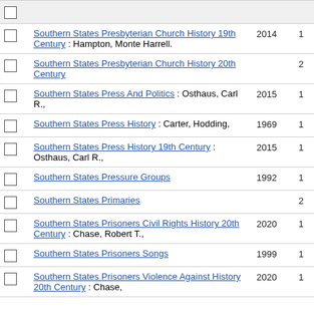|  | Subject | Year | Count |
| --- | --- | --- | --- |
| ☐ | Southern States Presbyterian Church History 19th Century : Hampton, Monte Harrell. | 2014 | 1 |
| ☐ | Southern States Presbyterian Church History 20th Century |  | 2 |
| ☐ | Southern States Press And Politics : Osthaus, Carl R., | 2015 | 1 |
| ☐ | Southern States Press History : Carter, Hodding, | 1969 | 1 |
| ☐ | Southern States Press History 19th Century : Osthaus, Carl R., | 2015 | 1 |
| ☐ | Southern States Pressure Groups | 1992 | 1 |
| ☐ | Southern States Primaries |  | 2 |
| ☐ | Southern States Prisoners Civil Rights History 20th Century : Chase, Robert T., | 2020 | 1 |
| ☐ | Southern States Prisoners Songs | 1999 | 1 |
| ☐ | Southern States Prisoners Violence Against History 20th Century : Chase, | 2020 | 1 |